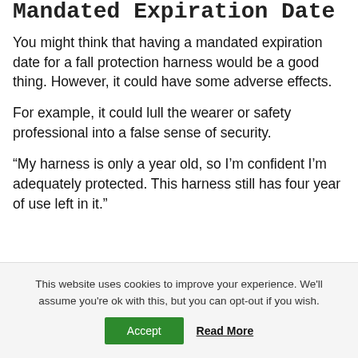Mandated Expiration Date
You might think that having a mandated expiration date for a fall protection harness would be a good thing. However, it could have some adverse effects.
For example, it could lull the wearer or safety professional into a false sense of security.
“My harness is only a year old, so I’m confident I’m adequately protected. This harness still has four year of use left in it.”
This website uses cookies to improve your experience. We'll assume you're ok with this, but you can opt-out if you wish. Accept Read More